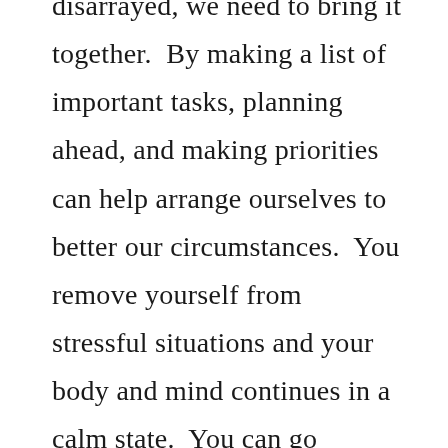disarrayed, we need to bring it together.  By making a list of important tasks, planning ahead, and making priorities can help arrange ourselves to better our circumstances.  You remove yourself from stressful situations and your body and mind continues in a calm state.  You can go through your day without skipping a beat.  This means